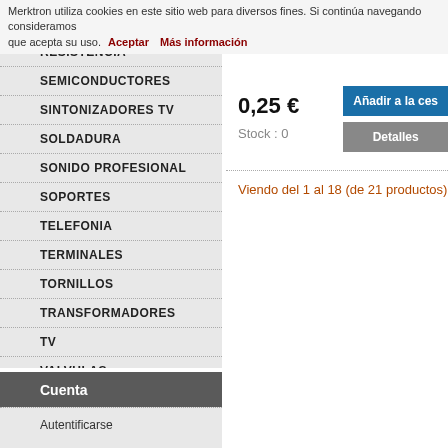REPUESTOS POR MARCAS
Merktron utiliza cookies en este sitio web para diversos fines. Si continúa navegando consideramos que acepta su uso. Aceptar Más información
RESISTENCIA
SEMICONDUCTORES
SINTONIZADORES TV
SOLDADURA
SONIDO PROFESIONAL
SOPORTES
TELEFONIA
TERMINALES
TORNILLOS
TRANSFORMADORES
TV
VALVULAS
VENTILADORES
VIDEO
Ofertas
Más vendidos
Cuenta
Autentificarse
0,25 €
Stock : 0
Añadir a la ces
Detalles
Viendo del 1 al 18 (de 21 productos)